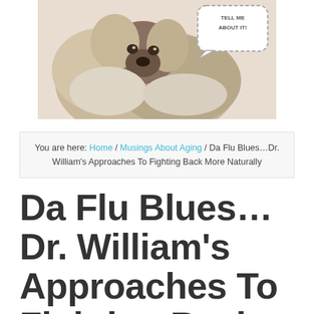[Figure (photo): A stylized illustration or painting of a dog (appears to be a Shih Tzu or similar long-haired breed) with a speech bubble saying 'TELL ME ABOUT IT!']
You are here: Home / Musings About Aging / Da Flu Blues…Dr. William's Approaches To Fighting Back More Naturally
Da Flu Blues…Dr. William's Approaches To Fighting Back More Naturally